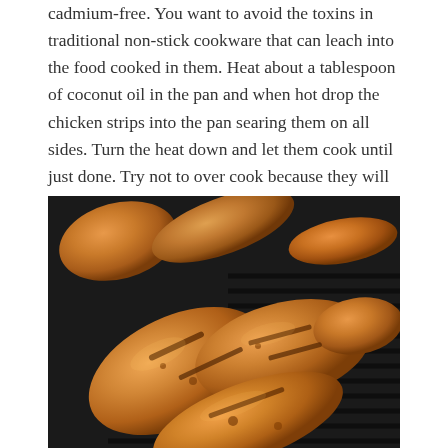cadmium-free. You want to avoid the toxins in traditional non-stick cookware that can leach into the food cooked in them. Heat about a tablespoon of coconut oil in the pan and when hot drop the chicken strips into the pan searing them on all sides. Turn the heat down and let them cook until just done. Try not to over cook because they will cook a bit longer in the soup pot. Let them sit for 5 minutes off of the heat before shredding or slicing.
[Figure (photo): Grilled chicken strips on a dark grill pan, showing char marks and golden-brown coloring from searing]